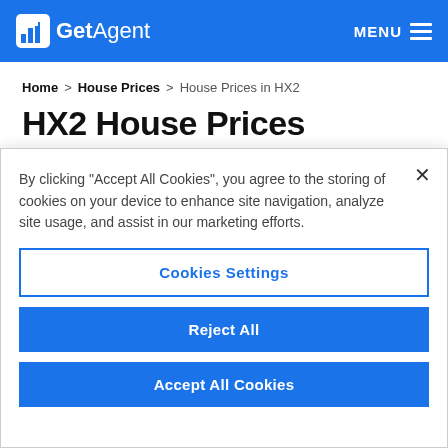GetAgent | MENU
Home > House Prices > House Prices in HX2
HX2 House Prices
See the latest property market data for HX2. Last ...
By clicking “Accept All Cookies”, you agree to the storing of cookies on your device to enhance site navigation, analyze site usage, and assist in our marketing efforts.
Cookies Settings
Reject All
Accept All Cookies